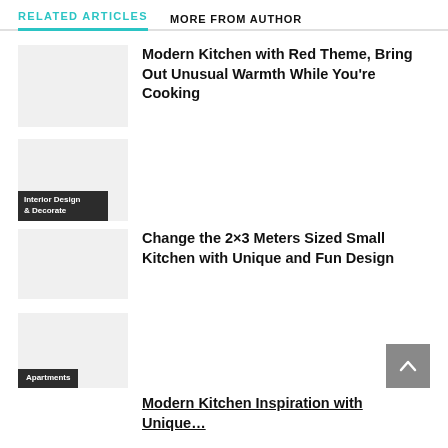RELATED ARTICLES
MORE FROM AUTHOR
Modern Kitchen with Red Theme, Bring Out Unusual Warmth While You're Cooking
Interior Design & Decorate
Change the 2×3 Meters Sized Small Kitchen with Unique and Fun Design
Apartments
Modern Kitchen Inspiration with Unique…